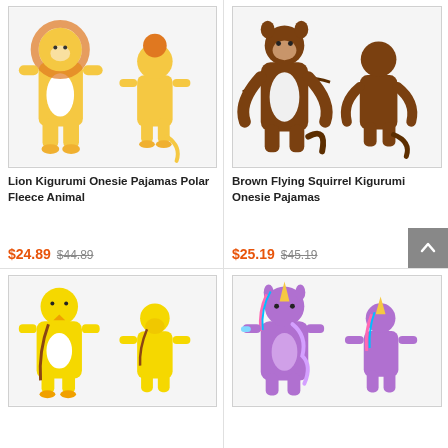[Figure (photo): Lion Kigurumi onesie pajamas — front view (yellow lion costume with white belly) and back view on two models standing]
Lion Kigurumi Onesie Pajamas Polar Fleece Animal
$24.89  $44.89
[Figure (photo): Brown Flying Squirrel Kigurumi onesie pajamas — front view (brown and white squirrel costume with wing flaps) and back view on two models]
Brown Flying Squirrel Kigurumi Onesie Pajamas
$25.19  $45.19
[Figure (photo): Yellow chick/duck Kigurumi onesie pajamas — front and back view on two models, yellow costume with white belly]
[Figure (photo): Purple unicorn Kigurumi onesie pajamas — front and back view on two models, purple costume with colorful unicorn horn]